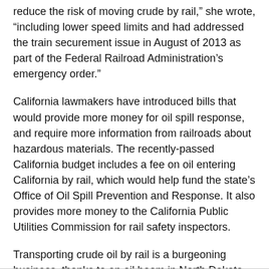reduce the risk of moving crude by rail," she wrote, "including lower speed limits and had addressed the train securement issue in August of 2013 as part of the Federal Railroad Administration's emergency order."
California lawmakers have introduced bills that would provide more money for oil spill response, and require more information from railroads about hazardous materials. The recently-passed California budget includes a fee on oil entering California by rail, which would help fund the state's Office of Oil Spill Prevention and Response. It also provides more money to the California Public Utilities Commission for rail safety inspectors.
Transporting crude oil by rail is a burgeoning business, thanks to an oil boom in North Dakota. In 2013, more than 6 million barrels of crude oil came into California by rail. In 2008, there were none.